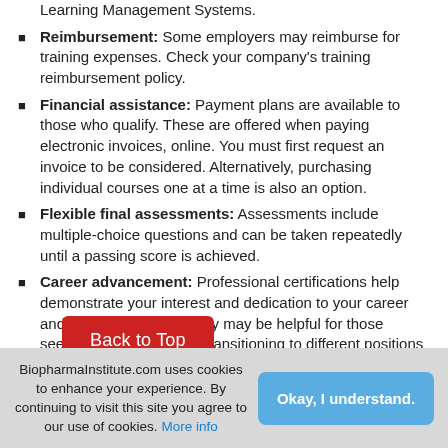Learning Management Systems.
Reimbursement: Some employers may reimburse for training expenses. Check your company's training reimbursement policy.
Financial assistance: Payment plans are available to those who qualify. These are offered when paying electronic invoices, online. You must first request an invoice to be considered. Alternatively, purchasing individual courses one at a time is also an option.
Flexible final assessments: Assessments include multiple-choice questions and can be taken repeatedly until a passing score is achieved.
Career advancement: Professional certifications help demonstrate your interest and dedication to your career and job performance. They may be helpful for those seeking a new career or transitioning to different positions within an organization.
Instant certificates: Certificate of completion is instantly available once requirements have been fulfilled.
BiopharmaInstitute.com uses cookies to enhance your experience. By continuing to visit this site you agree to our use of cookies. More info